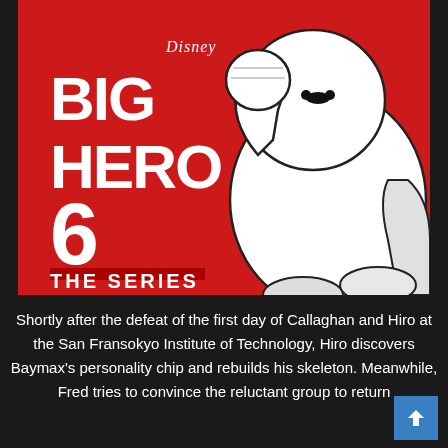[Figure (illustration): Big Hero 6: The Series promotional image on a red background featuring Baymax (white inflatable robot) holding up a fist, with the Disney logo and bold white text reading 'BIG HERO 6 THE SERIES']
Shortly after the defeat of the first day of Callaghan and Hiro at the San Fransokyo Institute of Technology, Hiro discovers Baymax's personality chip and rebuilds his skeleton. Meanwhile, Fred tries to convince the reluctant group to return